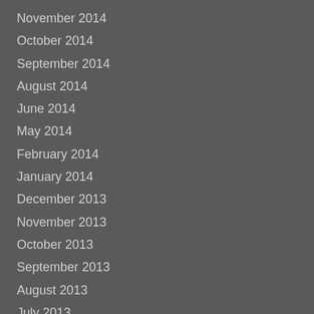November 2014
October 2014
September 2014
August 2014
June 2014
May 2014
February 2014
January 2014
December 2013
November 2013
October 2013
September 2013
August 2013
July 2013
June 2013
May 2013
April 2013
February 2013